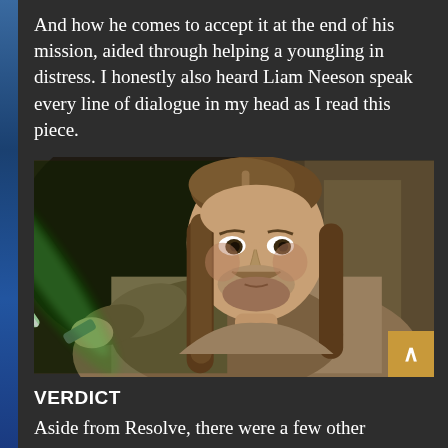And how he comes to accept it at the end of his mission, aided through helping a youngling in distress. I honestly also heard Liam Neeson speak every line of dialogue in my head as I read this piece.
[Figure (photo): Qui-Gon Jinn (Liam Neeson) from Star Wars holding a green lightsaber, with long brown hair, wearing Jedi robes, looking seriously at the camera]
VERDICT
Aside from Resolve, there were a few other